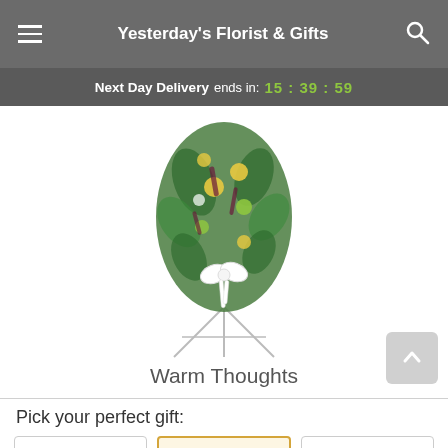Yesterday's Florist & Gifts
Next Day Delivery ends in: 15 : 39 : 59
[Figure (photo): Flower arrangement called 'Warm Thoughts' — a lush green and yellow floral spray on a white easel stand with a white bow ribbon]
Warm Thoughts
Pick your perfect gift: